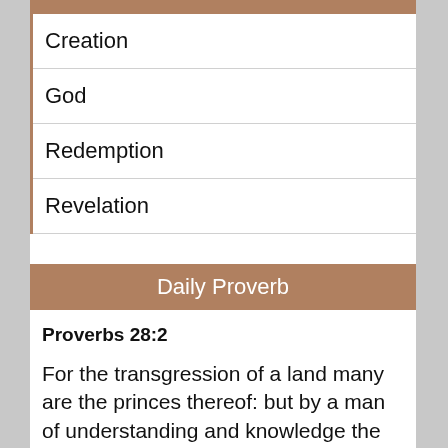Creation
God
Redemption
Revelation
Daily Proverb
Proverbs 28:2
For the transgression of a land many are the princes thereof: but by a man of understanding and knowledge the state thereof shall be prolonged.
See All